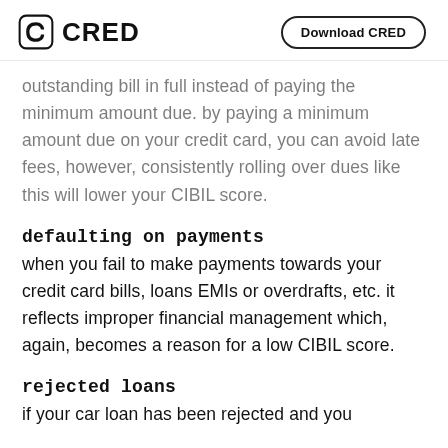CRED | Download CRED
outstanding bill in full instead of paying the minimum amount due. by paying a minimum amount due on your credit card, you can avoid late fees, however, consistently rolling over dues like this will lower your CIBIL score.
defaulting on payments
when you fail to make payments towards your credit card bills, loans EMIs or overdrafts, etc. it reflects improper financial management which, again, becomes a reason for a low CIBIL score.
rejected loans
if your car loan has been rejected and you